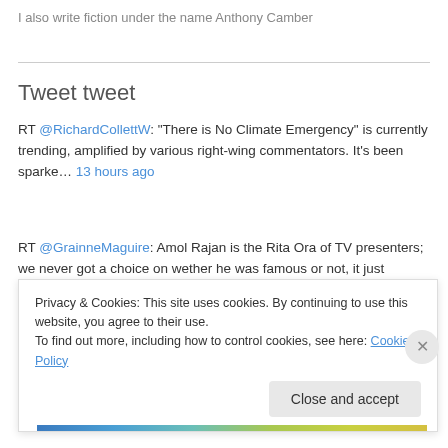I also write fiction under the name Anthony Camber
Tweet tweet
RT @RichardCollettW: "There is No Climate Emergency" is currently trending, amplified by various right-wing commentators. It's been sparke… 13 hours ago
RT @GrainneMaguire: Amol Rajan is the Rita Ora of TV presenters; we never got a choice on wether he was famous or not, it just happened and… 1 day ago
Privacy & Cookies: This site uses cookies. By continuing to use this website, you agree to their use. To find out more, including how to control cookies, see here: Cookie Policy